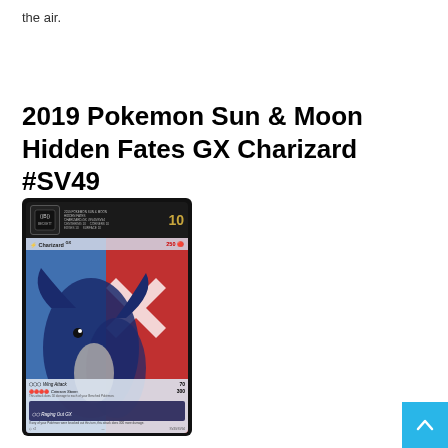the air.
2019 Pokemon Sun & Moon Hidden Fates GX Charizard #SV49
[Figure (photo): A graded Pokemon trading card — 2019 Pokemon Sun & Moon Hidden Fates GX Charizard #SV49 — in a BGS (Beckett Grading Services) slab with a grade of 10 shown in gold. The card features Charizard GX with 250 HP against a red and blue background.]